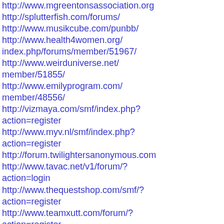http://www.mgreentonsassociation.org
http://splutterfish.com/forums/
http://www.musikcube.com/punbb/
http://www.health4women.org/index.php/forums/member/51967/
http://www.weirduniverse.net/member/51855/
http://www.emilyprogram.com/member/48556/
http://vizmaya.com/smf/index.php?action=register
http://www.myv.nl/smf/index.php?action=register
http://forum.twilightersanonymous.com
http://www.tavac.net/v1/forum/?action=login
http://www.thequestshop.com/smf/?action=register
http://www.teamxutt.com/forum/?action=register
http://www.exodus3000.com/forums/index.php?action=register
http://fargoautomation.com/